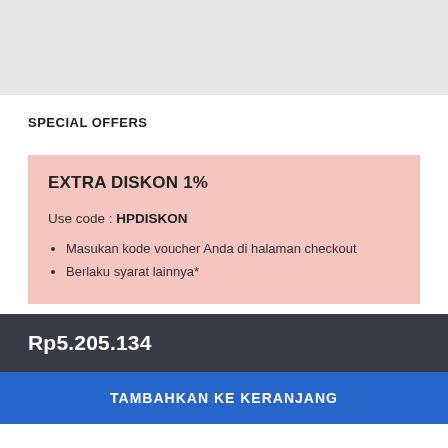[Figure (other): Gray placeholder/header area at the top of the page]
SPECIAL OFFERS
EXTRA DISKON 1%
Use code : HPDISKON
Masukan kode voucher Anda di halaman checkout
Berlaku syarat lainnya*
Rp5.205.134
TAMBAHKAN KE KERANJANG